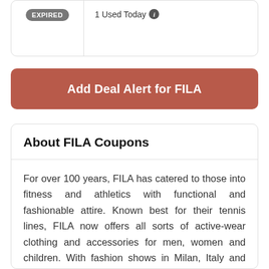EXPIRED | 1 Used Today
Add Deal Alert for FILA
About FILA Coupons
For over 100 years, FILA has catered to those into fitness and athletics with functional and fashionable attire. Known best for their tennis lines, FILA now offers all sorts of active-wear clothing and accessories for men, women and children. With fashion shows in Milan, Italy and elsewhere, they keep ahead of style trends for you.